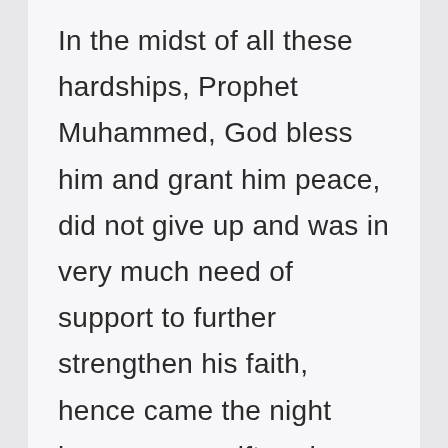In the midst of all these hardships, Prophet Muhammed, God bless him and grant him peace, did not give up and was in very much need of support to further strengthen his faith, hence came the night journey as a gift and a sign of such support from his Lord Almighty.